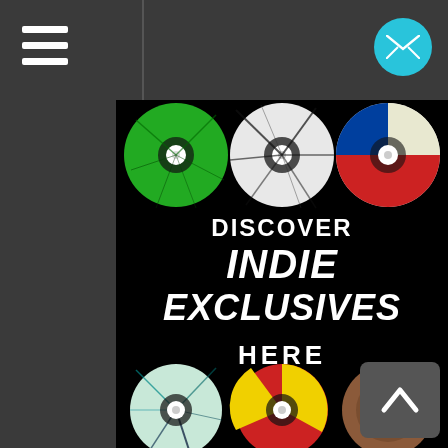Navigation header with hamburger menu and mail icon
[Figure (infographic): Promotional banner for Indie Exclusives vinyl records. Black background featuring 9 colorful vinyl records arranged in 3 rows of 3. Text reads DISCOVER INDIE EXCLUSIVES HERE. Top row: green splatter, black/white splatter, blue/red/white vinyl. Middle row: teal/black splatter, red/yellow pie design, brown textured. Bottom row: red/white splatter, olive green, green/purple pinwheel.]